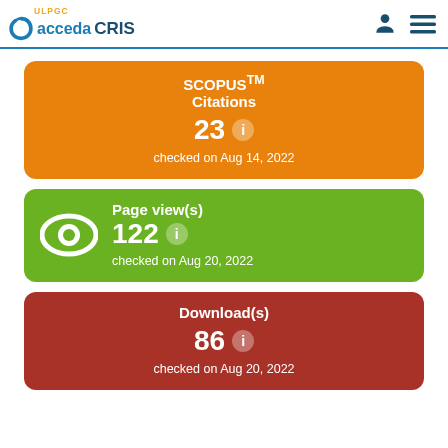ULPGC accedaCRIS
[Figure (infographic): SCOPUS TM Citations card showing 23 citations, checked on Aug 14, 2022]
[Figure (infographic): Page view(s) card showing 122 page views, checked on Aug 20, 2022]
[Figure (infographic): Download(s) card showing 86 downloads, checked on Aug 20, 2022]